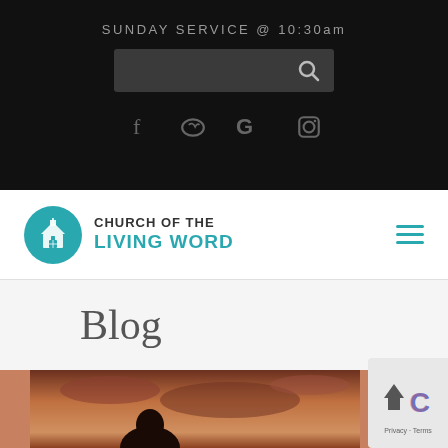SUNDAY SERVICE @ 10:30am
[Figure (screenshot): Search bar with search icon on dark background]
[Figure (infographic): Social media icons: Facebook, Vimeo, Google+, Instagram]
[Figure (logo): Church of the Living Word logo with teal circle and church building icon]
Blog
[Figure (photo): Person viewed from behind against sunset sky]
[Figure (other): reCAPTCHA badge with Privacy and Terms links]